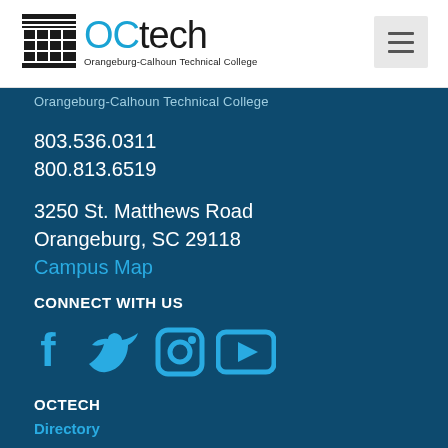[Figure (logo): OCtech Orangeburg-Calhoun Technical College logo with building icon]
Orangeburg-Calhoun Technical College
803.536.0311
800.813.6519
3250 St. Matthews Road
Orangeburg, SC 29118
Campus Map
CONNECT WITH US
[Figure (illustration): Social media icons: Facebook, Twitter, Instagram, YouTube]
OCTECH
Directory